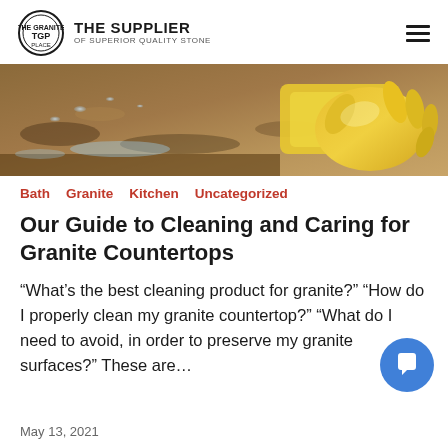THE SUPPLIER OF SUPERIOR QUALITY STONE
[Figure (photo): Close-up photo of a granite countertop being wiped with a yellow cloth by a hand wearing a yellow rubber glove, with water droplets visible on the granite surface.]
Bath  Granite  Kitchen  Uncategorized
Our Guide to Cleaning and Caring for Granite Countertops
“What’s the best cleaning product for granite?”  “How do I properly clean my granite countertop?” “What do I need to avoid, in order to preserve my granite surfaces?” These are…